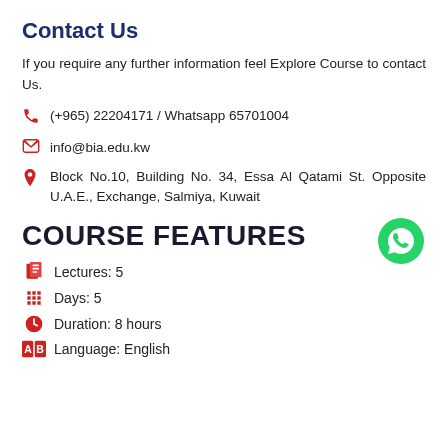Contact Us
If you require any further information feel Explore Course to contact Us.
(+965) 22204171 / Whatsapp 65701004
info@bia.edu.kw
Block No.10, Building No. 34, Essa Al Qatami St. Opposite U.A.E., Exchange, Salmiya, Kuwait
COURSE FEATURES
Lectures: 5
Days: 5
Duration: 8 hours
Language: English